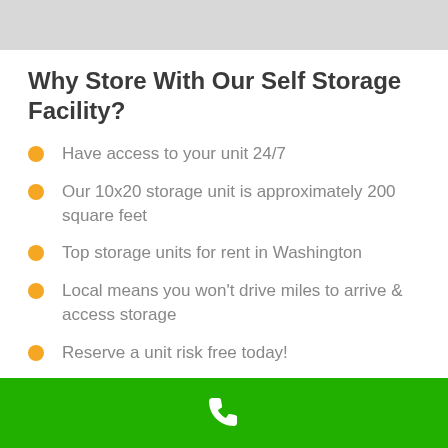[Figure (other): Gray map bar at the top of the page]
Why Store With Our Self Storage Facility?
Have access to your unit 24/7
Our 10x20 storage unit is approximately 200 square feet
Top storage units for rent in Washington
Local means you won't drive miles to arrive & access storage
Reserve a unit risk free today!
Phone icon on green footer bar